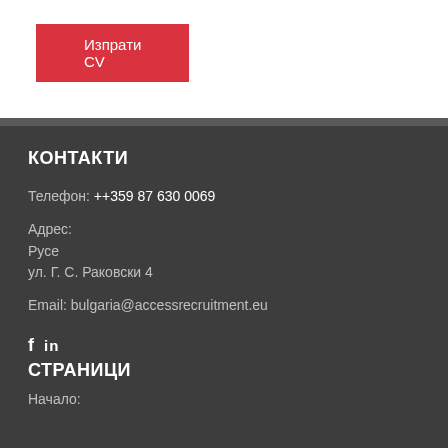Изпрати CV
КОНТАКТИ
Телефон: ++359 87 630 0069
Адрес:
Русе
ул. Г. С. Раковски 4
Email: bulgaria@accessrecruitment.eu
f  in
СТРАНИЦИ
Начало: